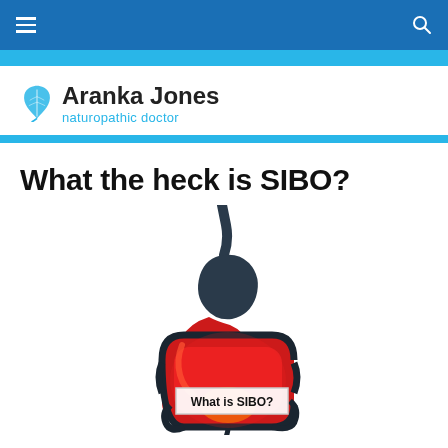Navigation bar with hamburger menu and search icon
[Figure (logo): Aranka Jones naturopathic doctor logo with leaf icon]
What the heck is SIBO?
[Figure (illustration): Medical illustration of human digestive system/intestines highlighted in red, with a label overlay reading 'What is SIBO?']